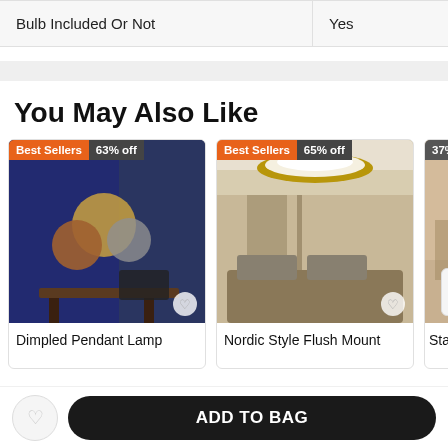|  |  |
| --- | --- |
| Bulb Included Or Not | Yes |
You May Also Like
[Figure (photo): Dimpled Pendant Lamp product photo with Best Sellers badge and 63% off badge]
[Figure (photo): Nordic Style Flush Mount product photo with Best Sellers badge and 65% off badge]
[Figure (photo): Star Se... product photo with 37% off badge and scroll-up button]
Dimpled Pendant Lamp
Nordic Style Flush Mount
Star Se
ADD TO BAG